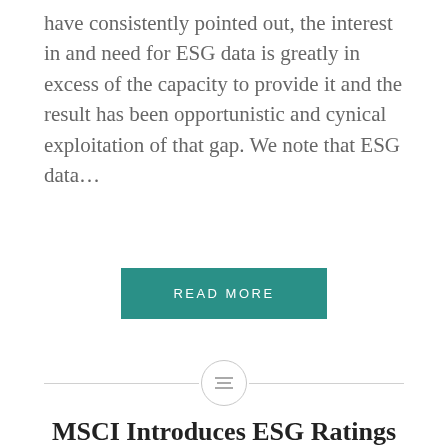have consistently pointed out, the interest in and need for ESG data is greatly in excess of the capacity to provide it and the result has been opportunistic and cynical exploitation of that gap. We note that ESG data...
READ MORE
[Figure (other): Horizontal divider with a centered circle icon containing three horizontal lines]
MSCI Introduces ESG Ratings & Climate Search Tool
We are proud to be a leader in driving ESG and Climate to...